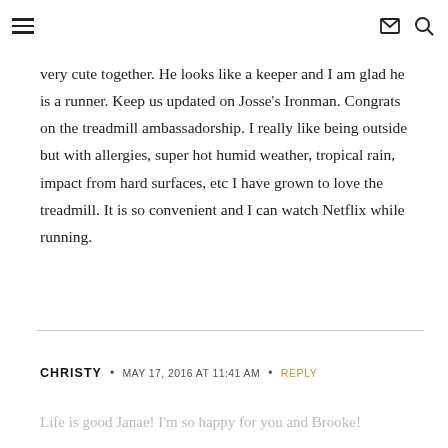≡  ✉ 🔍
very cute together. He looks like a keeper and I am glad he is a runner. Keep us updated on Josse's Ironman. Congrats on the treadmill ambassadorship. I really like being outside but with allergies, super hot humid weather, tropical rain, impact from hard surfaces, etc I have grown to love the treadmill. It is so convenient and I can watch Netflix while running.
CHRISTY • MAY 17, 2016 AT 11:41 AM • REPLY
Life is good Janae! I'm so happy for you and Brooke!